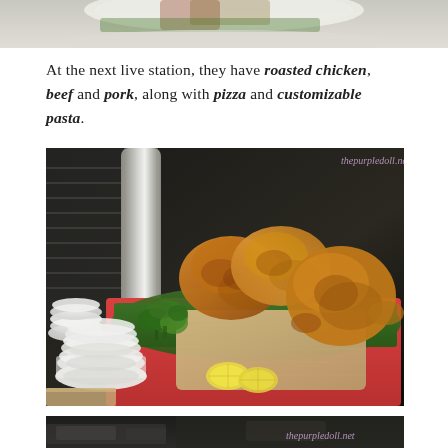[Figure (photo): Top portion of a food dish photo, partially cropped at top of page]
At the next live station, they have roasted chicken, beef and pork, along with pizza and customizable pasta.
[Figure (photo): Photo of roasted whole chickens on a wooden cutting board placed on a banana leaf over a red tray, with broccoli and lemon slices as garnish, stacked white bowls on the left. Watermark: thepurpledoll.net]
[Figure (photo): Bottom portion of another food station photo, partially visible at bottom of page. Watermark: thepurpledoll.net]